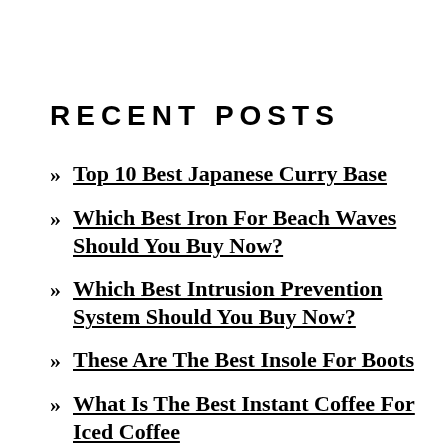RECENT POSTS
Top 10 Best Japanese Curry Base
Which Best Iron For Beach Waves Should You Buy Now?
Which Best Intrusion Prevention System Should You Buy Now?
These Are The Best Insole For Boots
What Is The Best Instant Coffee For Iced Coffee